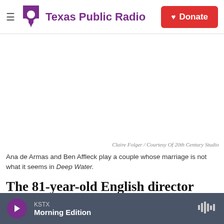Texas Public Radio | Donate
[Figure (photo): Blank white image area representing a movie still from Deep Water]
Claire Folger / Courtesy Of 20th Century Studio
Ana de Armas and Ben Affleck play a couple whose marriage is not what it seems in Deep Water.
The 81-year-old English director Adrian Lyne made
KSTX Morning Edition